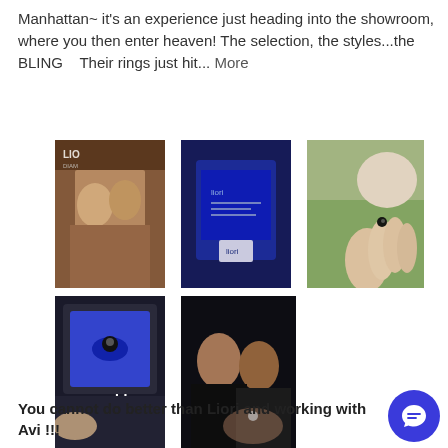Manhattan~ it's an experience just heading into the showroom, where you then enter heaven! The selection, the styles...the BLING   Their rings just hit... More
[Figure (photo): Five photos: couple in jewelry store, tablet showing Liori website, hand with ring, ring box with diamond ring, couple celebrating engagement]
Lou Giudice  Verified Buyer
★★★★★
07/28/2022
You cannot do better than Liori and working with Avi !!!